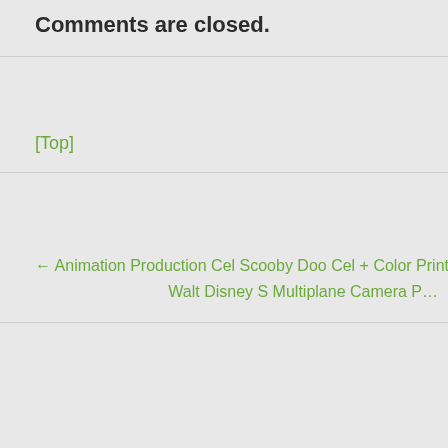Comments are closed.
[Top]
← Animation Production Cel Scooby Doo Cel + Color Print B. G. Hanna B…
Walt Disney S Multiplane Camera P…